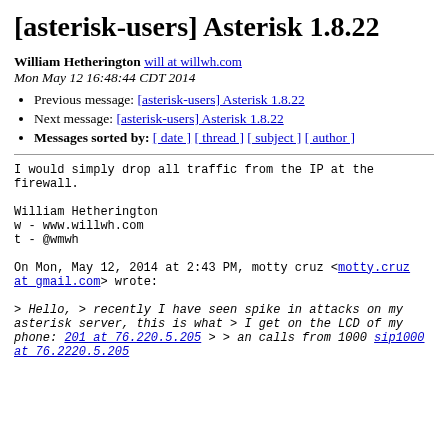[asterisk-users] Asterisk 1.8.22
William Hetherington will at willwh.com
Mon May 12 16:48:44 CDT 2014
Previous message: [asterisk-users] Asterisk 1.8.22
Next message: [asterisk-users] Asterisk 1.8.22
Messages sorted by: [ date ] [ thread ] [ subject ] [ author ]
I would simply drop all traffic from the IP at the
firewall.

William Hetherington
w - www.willwh.com
t - @wmwh
On Mon, May 12, 2014 at 2:43 PM, motty cruz <motty.cruz at gmail.com> wrote:
> Hello,
> recently I have seen spike in attacks on my asterisk server, this is what
> I get on the LCD of my phone: 201 at 76.220.5.205
>
> an calls from 1000 sip1000 at 76.2220.5.205